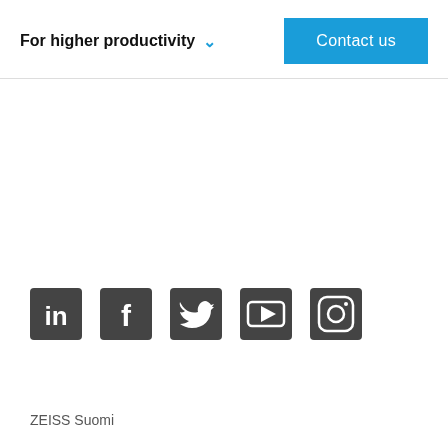For higher productivity  ∨   Contact us
[Figure (logo): Social media icons row: LinkedIn, Facebook, Twitter, YouTube, Instagram]
ZEISS Suomi